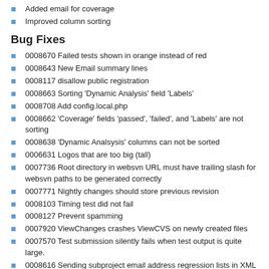Added email for coverage
Improved column sorting
Bug Fixes
0008670 Failed tests shown in orange instead of red
0008643 New Email summary lines
0008117 disallow public registration
0008663 Sorting 'Dynamic Analysis' field 'Labels'
0008708 Add config.local.php
0008662 'Coverage' fields 'passed', 'failed', and 'Labels' are not sorting
0008638 'Dynamic Analsysis' columns can not be sorted
0006631 Logos that are too big (tall)
0007736 Root directory in websvn URL must have trailing slash for websvn paths to be generated correctly
0007771 Nightly changes should store previous revision
0008103 Timing test did not fail
0008127 Prevent spamming
0007920 ViewChanges crashes ViewCVS on newly created files
0007570 Test submission silently fails when test output is quite large.
0008616 Sending subproject email address regression lists in XML and updating CDash email lists
0008615 Sorting the 'Min' columns is not a numeric sort.
0008191 pdo_query() does not work if it is not MySQL